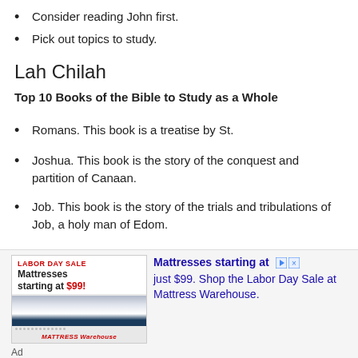Consider reading John first.
Pick out topics to study.
Lah Chilah
Top 10 Books of the Bible to Study as a Whole
Romans. This book is a treatise by St.
Joshua. This book is the story of the conquest and partition of Canaan.
Job. This book is the story of the trials and tribulations of Job, a holy man of Edom.
Psalms
[Figure (infographic): Advertisement banner for Mattress Warehouse Labor Day Sale showing mattresses starting at $99]
Ad